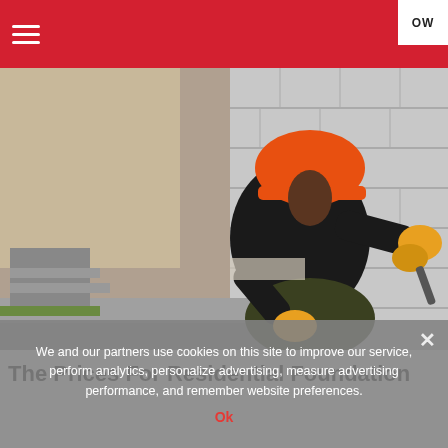≡  OW
[Figure (photo): A construction worker wearing an orange hard hat and yellow gloves kneeling at the base of a concrete block wall, applying mortar or sealant with a brush. Outdoor setting with gravel and steps visible.]
The Prices For Residential Foundation
We and our partners use cookies on this site to improve our service, perform analytics, personalize advertising, measure advertising performance, and remember website preferences.
Ok